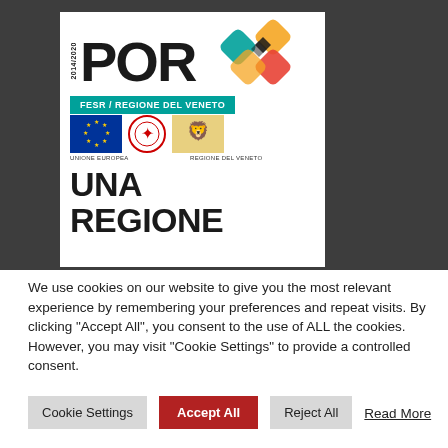[Figure (logo): POR FESR 2014/2020 Regione del Veneto logo with EU flag, Italian Republic emblem, and Regione del Veneto logo. Colorful geometric snowflake-like symbol at top right. Teal bar reading FESR / REGIONE DEL VENETO. Text 'UNA REGIONE' visible at bottom of card.]
We use cookies on our website to give you the most relevant experience by remembering your preferences and repeat visits. By clicking "Accept All", you consent to the use of ALL the cookies. However, you may visit "Cookie Settings" to provide a controlled consent.
Cookie Settings
Accept All
Reject All
Read More